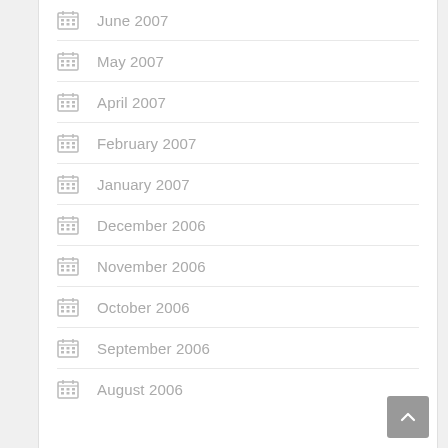June 2007
May 2007
April 2007
February 2007
January 2007
December 2006
November 2006
October 2006
September 2006
August 2006